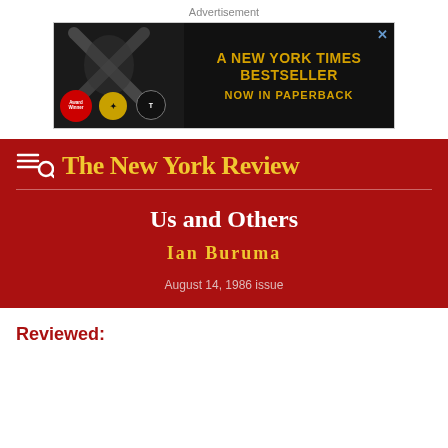Advertisement
[Figure (illustration): Advertisement banner for a New York Times Bestseller now in paperback, black background with gold text and book imagery.]
The New York Review
Us and Others
Ian Buruma
August 14, 1986 issue
Reviewed: